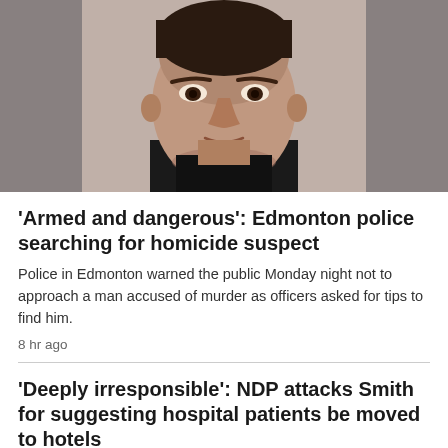[Figure (photo): Mugshot-style photo of a man with short dark hair wearing a black shirt, against a neutral background]
'Armed and dangerous': Edmonton police searching for homicide suspect
Police in Edmonton warned the public Monday night not to approach a man accused of murder as officers asked for tips to find him.
8 hr ago
'Deeply irresponsible': NDP attacks Smith for suggesting hospital patients be moved to hotels
10 hr ago
Edmonton man charged in sex assault at